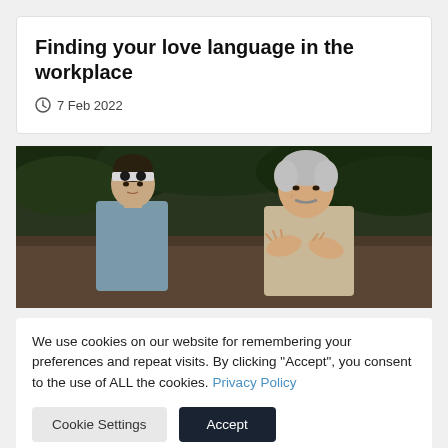Finding your love language in the workplace
7 Feb 2022
[Figure (photo): Film still showing two characters — a young man wearing a headband and an older Asian man — appearing to be in a Karate Kid scene outdoors with green foliage in the background]
We use cookies on our website for remembering your preferences and repeat visits. By clicking "Accept", you consent to the use of ALL the cookies. Privacy Policy
Cookie Settings
Accept